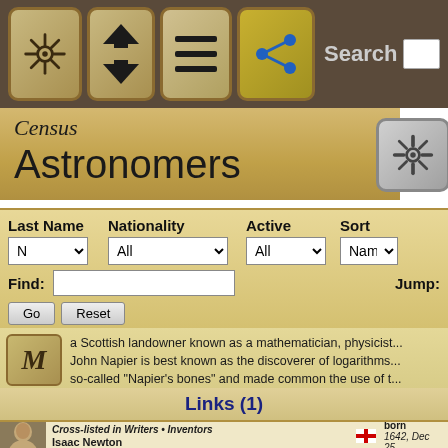[Figure (screenshot): Navigation bar with icons: ship wheel, home/up arrow, hamburger menu, share button, and Search label with input box]
Census
Astronomers
| Last Name | Nationality | Active | Sort |
| --- | --- | --- | --- |
| N | All | All | Name |
Find:   [input]   Jump:
a Scottish landowner known as a mathematician, physicist... John Napier is best known as the discoverer of logarithms... so-called "Napier's bones" and made common the use of the decimal point in arithmetic and mathematics. Napier made further contribu...
Links (1)
Cross-listed in Writers • Inventors
Isaac Newton   born 1642, Dec 25